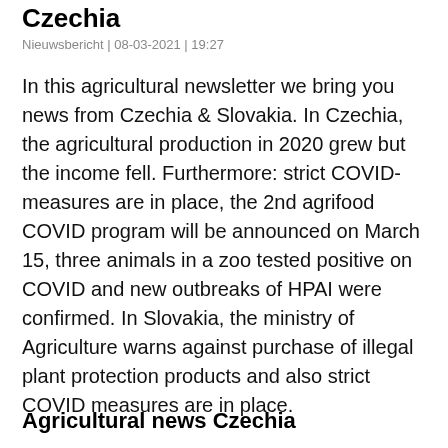Czechia
Nieuwsbericht | 08-03-2021 | 19:27
In this agricultural newsletter we bring you news from Czechia & Slovakia. In Czechia, the agricultural production in 2020 grew but the income fell. Furthermore: strict COVID-measures are in place, the 2nd agrifood COVID program will be announced on March 15, three animals in a zoo tested positive on COVID and new outbreaks of HPAI were confirmed. In Slovakia, the ministry of Agriculture warns against purchase of illegal plant protection products and also strict COVID measures are in place.
Agricultural news Czechia